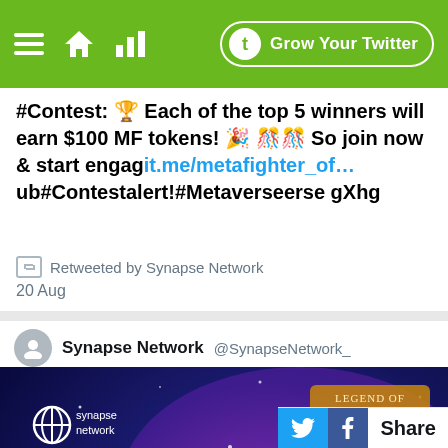Grow Your Twitter
#Contest: 🏆 Each of the top 5 winners will earn $100 MF tokens! 🎉 🎊🎊 So join now & start engagit.me/metafighter_of… ub#Contestalert!#Metaverseerse gXhg
Retweeted by Synapse Network
20 Aug
Synapse Network @SynapseNetwork_
[Figure (illustration): AMA Summary promotional image for Synapse Network and Legend of Aria showing glowing blue/purple background with a robot/character figure and large glowing text 'AMA SUMMARY']